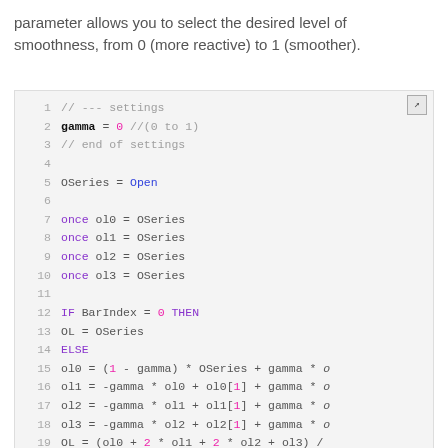parameter allows you to select the desired level of smoothness, from 0 (more reactive) to 1 (smoother).
[Figure (screenshot): Code editor screenshot showing Pine Script code lines 1-24 with syntax highlighting. Lines include settings comments, gamma variable, OSeries assignment, once statements, IF/ELSE/ENDIF block, and CSeries assignment.]